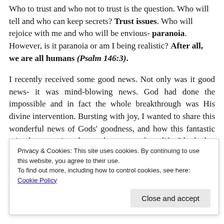Who to trust and who not to trust is the question. Who will tell and who can keep secrets? Trust issues. Who will rejoice with me and who will be envious- paranoia. However, is it paranoia or am I being realistic? After all, we are all humans (Psalm 146:3).
I recently received some good news. Not only was it good news- it was mind-blowing news. God had done the impossible and in fact the whole breakthrough was His divine intervention. Bursting with joy, I wanted to share this wonderful news of Gods' goodness, and how this fantastic miracle was going change the course of my life. I looked at my phone book and as I looked at each name, I started pondering
Privacy & Cookies: This site uses cookies. By continuing to use this website, you agree to their use.
To find out more, including how to control cookies, see here: Cookie Policy